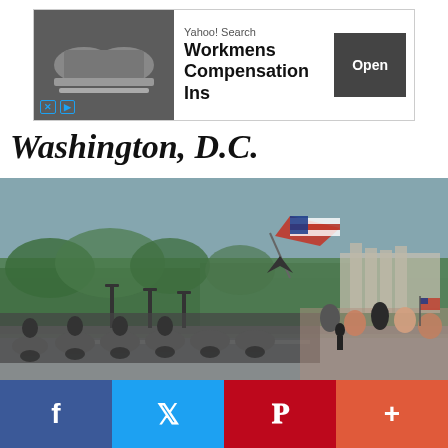[Figure (screenshot): Yahoo Search advertisement banner for Workmens Compensation Ins with an Open button]
Washington, D.C.
[Figure (photo): Outdoor photo of a motorcycle parade/rally in Washington D.C. with an American flag waving, crowds of spectators on the right, motorcyclists on the road, green trees and a government building in the background]
[Figure (infographic): Social media share bar with Facebook, Twitter, Pinterest and more buttons]